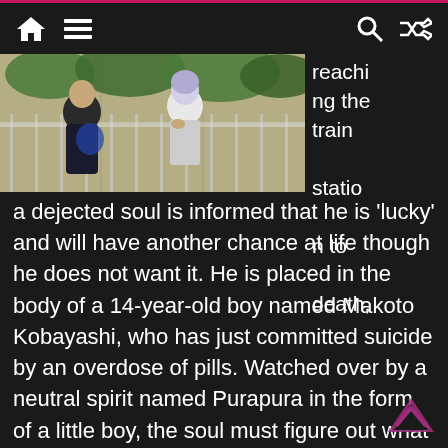Navigation bar with home, menu, search, and shuffle icons
[Figure (screenshot): Anime screenshot showing two characters — one in dark clothes and one with light/grey hair — appearing to converse outdoors near a fence with greenery in background.]
reaching the train station to death, a dejected soul is informed that he is 'lucky' and will have another chance at life though he does not want it. He is placed in the body of a 14-year-old boy named Makoto Kobayashi, who has just committed suicide by an overdose of pills. Watched over by a neutral spirit named Purapura in the form of a little boy, the soul must figure out what his greatest sin and mistake in his former life was before his six-month time limit in Makoto's body runs out. He also has a number of